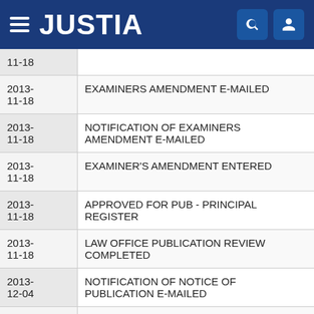JUSTIA
| Date | Event |
| --- | --- |
| 11-18 |  |
| 2013-11-18 | EXAMINERS AMENDMENT E-MAILED |
| 2013-11-18 | NOTIFICATION OF EXAMINERS AMENDMENT E-MAILED |
| 2013-11-18 | EXAMINER'S AMENDMENT ENTERED |
| 2013-11-18 | APPROVED FOR PUB - PRINCIPAL REGISTER |
| 2013-11-18 | LAW OFFICE PUBLICATION REVIEW COMPLETED |
| 2013-12-04 | NOTIFICATION OF NOTICE OF PUBLICATION E-MAILED |
| 2013- | NOTICE OF START OF OPPOSITION PERIOD |